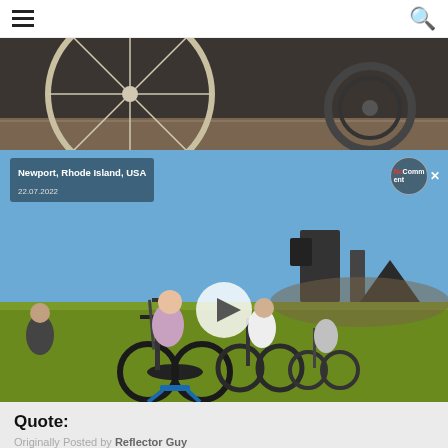[Figure (photo): Close-up of bicycle wheel/spokes with a pale yellow hoop overlay and orange chainring visible on the right]
[Figure (screenshot): Video thumbnail: people riding Brompton folding bikes on grass at an outdoor event in Newport, Rhode Island, USA on 22.07.2022. Play button in center, NcComment badge top right, location overlay top left.]
Quote:
Originally Posted by Reflector Guy
I think we've spotted the problem. It isn't the fitment that is the problem, it is all the work around work being avoided,